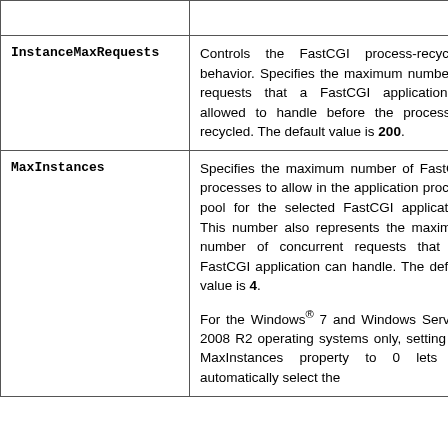| Parameter | Description |
| --- | --- |
| InstanceMaxRequests | Controls the FastCGI process-recycling behavior. Specifies the maximum number of requests that a FastCGI application is allowed to handle before the process is recycled. The default value is 200. |
| MaxInstances | Specifies the maximum number of FastCGI processes to allow in the application process pool for the selected FastCGI application. This number also represents the maximum number of concurrent requests that the FastCGI application can handle. The default value is 4.

For the Windows® 7 and Windows Server® 2008 R2 operating systems only, setting the MaxInstances property to 0 lets IIS automatically select the |